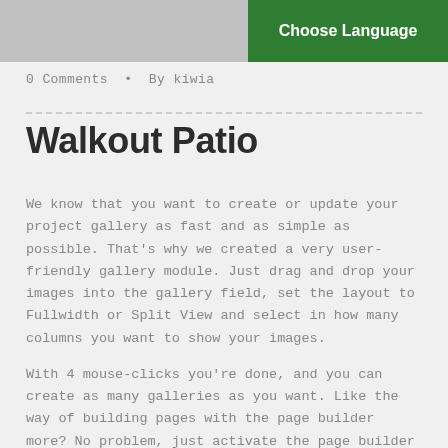[Figure (photo): Gray placeholder image in top-left header area]
Choose Language
0 Comments  •  By kiwia
Walkout Patio
We know that you want to create or update your project gallery as fast and as simple as possible. That's why we created a very user-friendly gallery module. Just drag and drop your images into the gallery field, set the layout to Fullwidth or Split View and select in how many columns you want to show your images.
With 4 mouse-clicks you're done, and you can create as many galleries as you want. Like the way of building pages with the page builder more? No problem, just activate the page builder on gallery pages with a single click and start building your page!